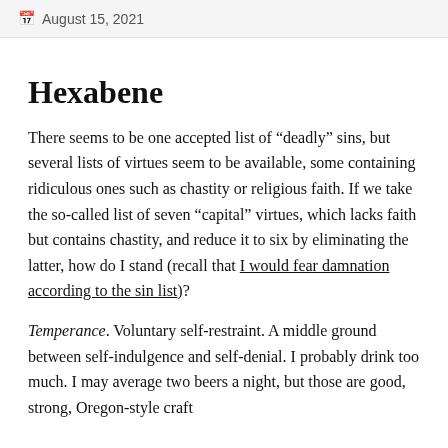August 15, 2021
Hexabene
There seems to be one accepted list of “deadly” sins, but several lists of virtues seem to be available, some containing ridiculous ones such as chastity or religious faith. If we take the so-called list of seven “capital” virtues, which lacks faith but contains chastity, and reduce it to six by eliminating the latter, how do I stand (recall that I would fear damnation according to the sin list)?
Temperance. Voluntary self-restraint. A middle ground between self-indulgence and self-denial. I probably drink too much. I may average two beers a night, but those are good, strong, Oregon-style craft